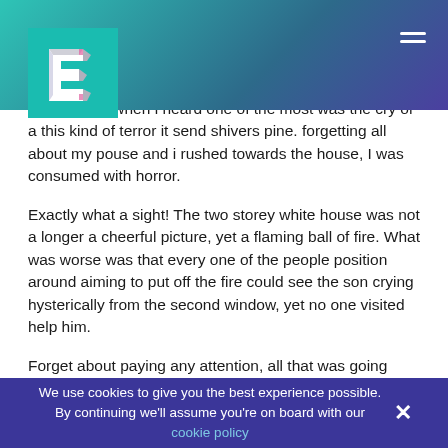[Figure (logo): Stylized 3D letter E logo in white/grey on teal background]
…to garage when i heard one of the most was the cry of a this kind of terror it send shivers pine. forgetting all about my pouse and i rushed towards the house, I was consumed with horror.
Exactly what a sight! The two storey white house was not a longer a cheerful picture, yet a flaming ball of fire. What was worse was that every one of the people position around aiming to put off the fire could see the son crying hysterically from the second window, yet no one visited help him.
Forget about paying any attention, all that was going
We use cookies to give you the best experience possible. By continuing we'll assume you're on board with our cookie policy